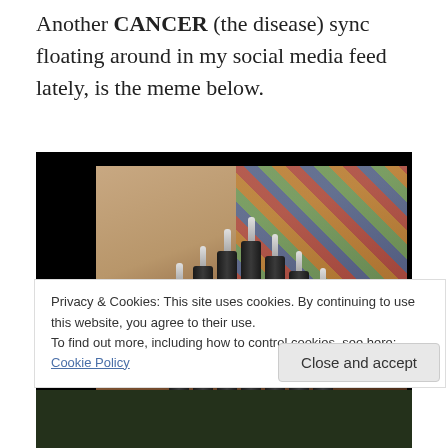Another CANCER (the disease) sync floating around in my social media feed lately, is the meme below.
[Figure (photo): Photo of multiple dark cylindrical syringes held in a hand against a colorful quilt background]
Privacy & Cookies: This site uses cookies. By continuing to use this website, you agree to their use.
To find out more, including how to control cookies, see here: Cookie Policy
[Figure (photo): Partial bottom strip showing another image below]